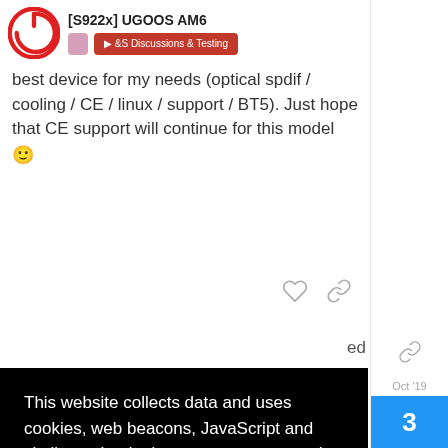[S922x] UGOOS AM6
best device for my needs (optical spdif / cooling / CE / linux / support / BT5). Just hope that CE support will continue for this model 🙂
[Figure (screenshot): Cookie consent overlay banner on black background with text: This website collects data and uses cookies, web beacons, JavaScript and similar technologies to ensure you get the best experience on our website. It doesn't use any 3rd party cookies but only technically necessary ones. Learn more. Got it! button in yellow.]